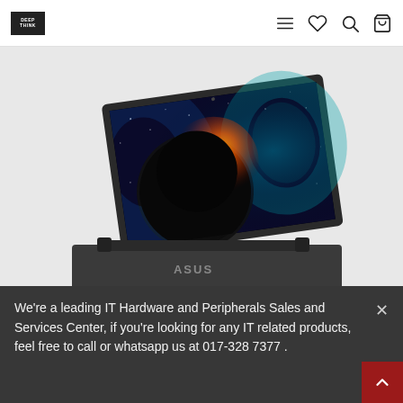DEEP THINK [logo] | navigation icons: menu, heart, search, bag
[Figure (photo): ASUS laptop (2-in-1 convertible) open at an angle showing its screen displaying a glowing planet/space wallpaper, dark gray body with ASUS logo on the keyboard deck]
We're a leading IT Hardware and Peripherals Sales and Services Center, if you're looking for any IT related products, feel free to call or whatsapp us at 017-328 7377 .